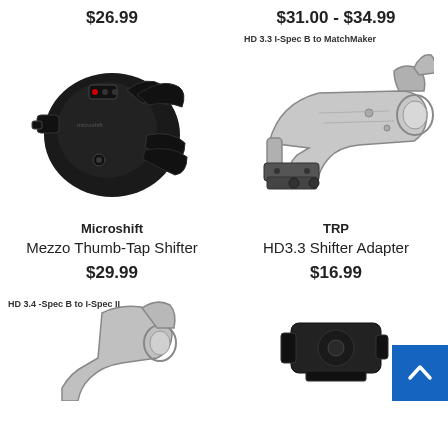$26.99
$31.00 - $34.99
[Figure (photo): Microshift Mezzo Thumb-Tap Shifter - black bicycle shifter component photo]
[Figure (illustration): TRP HD3.3 Shifter Adapter - technical illustration with label 'HD 3.3 I-Spec B to MatchMaker']
Microshift
Mezzo Thumb-Tap Shifter
TRP
HD3.3 Shifter Adapter
$29.99
$16.99
[Figure (illustration): Partial view of shifter adapter with label 'HD 3.4 -Spec B to I-Spec II']
[Figure (photo): Partial view of bicycle component, bottom cut off]